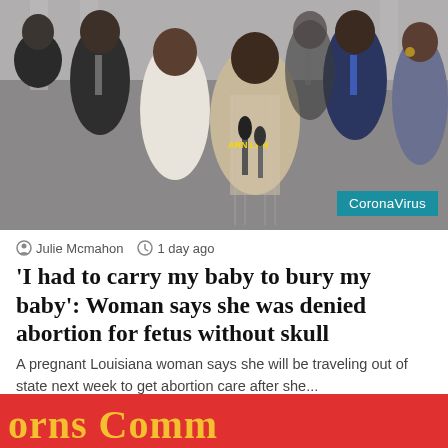[Figure (photo): Group of people at a press conference outdoors, a Black woman speaking into microphones with others standing behind her, wearing formal attire]
CoronaVirus
Julie Mcmahon  1 day ago
'I had to carry my baby to bury my baby': Woman says she was denied abortion for fetus without skull
A pregnant Louisiana woman says she will be traveling out of state next week to get abortion care after she...
Read More »
[Figure (photo): Bottom banner partially visible showing colorful text on red background reading 'Corps Comm...']